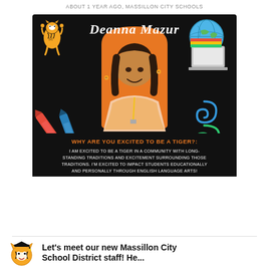ABOUT 1 YEAR AGO, MASSILLON CITY SCHOOLS
[Figure (photo): Promotional graphic for Massillon City Schools featuring new teacher Deanna Mazur on a black background with school-themed decorations (tiger mascot, crayons, books, paper clips). An orange arched frame contains her photo. Text reads: 'WHY ARE YOU EXCITED TO BE A TIGER?: I AM EXCITED TO BE A TIGER IN A COMMUNITY WITH LONG-STANDING TRADITIONS AND EXCITEMENT SURROUNDING THOSE TRADITIONS. I'M EXCITED TO IMPACT STUDENTS EDUCATIONALLY AND PERSONALLY THROUGH ENGLISH LANGUAGE ARTS!']
[Figure (logo): Massillon City Schools tiger mascot logo (cartoon tiger in graduation cap)]
Let's meet our new Massillon City School District staff! He...